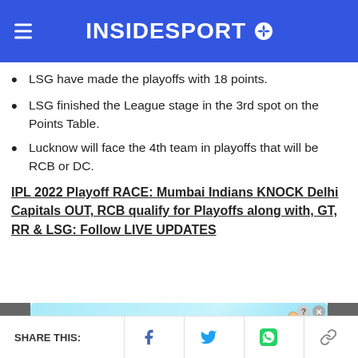INSIDESPORT
LSG have made the playoffs with 18 points.
LSG finished the League stage in the 3rd spot on the Points Table.
Lucknow will face the 4th team in playoffs that will be RCB or DC.
IPL 2022 Playoff RACE: Mumbai Indians KNOCK Delhi Capitals OUT, RCB qualify for Playoffs along with, GT, RR & LSG: Follow LIVE UPDATES
[Figure (infographic): BitLife advertisement banner: 'BitLife NOW WITH GOD MODE' with lightning bolt and pointing hand graphic]
SHARE THIS: